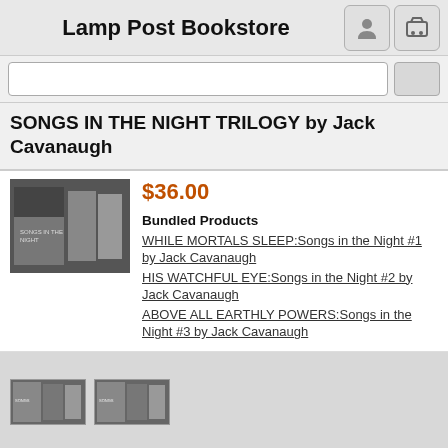Lamp Post Bookstore
SONGS IN THE NIGHT TRILOGY by Jack Cavanaugh
$36.00
Bundled Products
WHILE MORTALS SLEEP:Songs in the Night #1 by Jack Cavanaugh
HIS WATCHFUL EYE:Songs in the Night #2 by Jack Cavanaugh
ABOVE ALL EARTHLY POWERS:Songs in the Night #3 by Jack Cavanaugh
[Figure (photo): Book cover images for Songs in the Night Trilogy thumbnail set]
Price: $36.00
Qty: